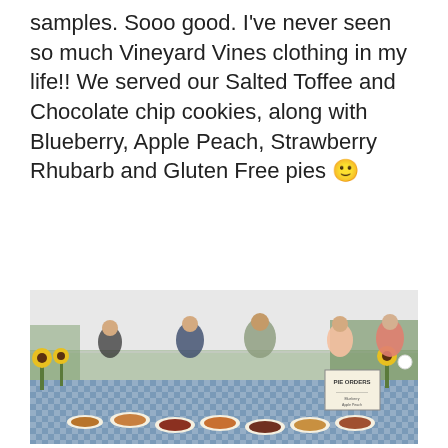samples. Sooo good. I've never seen so much Vineyard Vines clothing in my life!! We served our Salted Toffee and Chocolate chip cookies, along with Blueberry, Apple Peach, Strawberry Rhubarb and Gluten Free pies 🙂
[Figure (photo): Outdoor tent event with a long table covered in a blue and white checkered tablecloth. The table is covered with plates of pie slices and cookies. Sunflower arrangements are visible. Guests mingle in the background under a white tent. A 'Pie Orders' sign is visible on the right side of the table.]